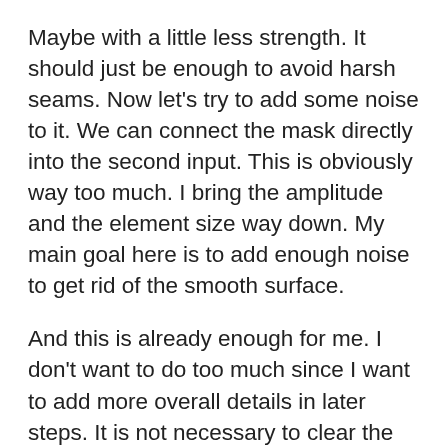Maybe with a little less strength. It should just be enough to avoid harsh seams. Now let's try to add some noise to it. We can connect the mask directly into the second input. This is obviously way too much. I bring the amplitude and the element size way down. My main goal here is to add enough noise to get rid of the smooth surface.
And this is already enough for me. I don't want to do too much since I want to add more overall details in later steps. It is not necessary to clear the mask since you could either replace it or simply not connect the mask. But I like to have a clean slate in between different tasks. So once I don't need a given mask anymore, I throw down a mask clear.